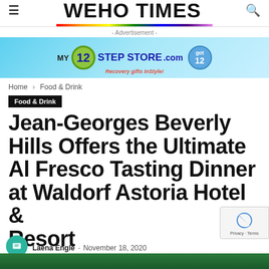WEHO TIMES
[Figure (screenshot): Advertisement banner for My12StepStore.com - Recovery gifts InStyle!]
Home › Food & Drink
Food & Drink
Jean-Georges Beverly Hills Offers the Ultimate Al Fresco Tasting Dinner at Waldorf Astoria Hotel & Resort
Laena Engle - November 18, 2020